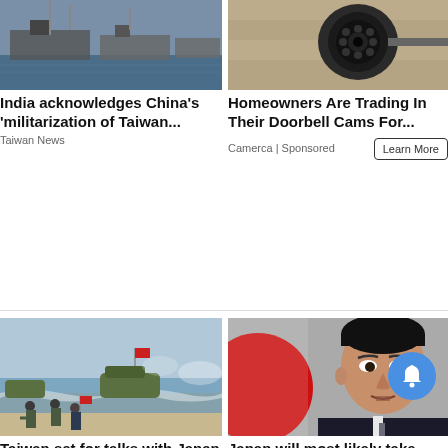[Figure (photo): Military ships docked at a harbor]
India acknowledges China's 'militarization of Taiwan...
Taiwan News
[Figure (photo): Security camera close-up on a wall]
Homeowners Are Trading In Their Doorbell Cams For...
Camerca | Sponsored
[Figure (photo): Military amphibious landing exercise with soldiers and vehicles on a beach]
Taiwan set for talks with Japan to evacuate...
Taiwan News
[Figure (photo): Japanese politician speaking in front of Japanese flag]
Japan will most likely take part if Taiwan Stra...
Taiwan News